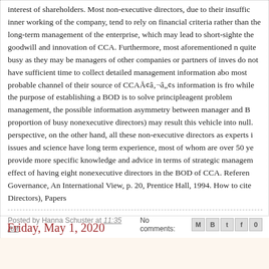interest of shareholders. Most non-executive directors, due to their insuffic inner working of the company, tend to rely on financial criteria rather than the long-term management of the enterprise, which may lead to short-sighte the goodwill and innovation of CCA. Furthermore, most aforementioned n quite busy as they may be managers of other companies or partners of inves do not have sufficient time to collect detailed management information abo most probable channel of their source of CCAÅ¢â,¬â„¢s information is fro while the purpose of establishing a BOD is to solve principleagent problem management, the possible information asymmetry between manager and B proportion of busy nonexecutive directors) may result this vehicle into null perspective, on the other hand, all these non-executive directors as experts i issues and science have long term experience, most of whom are over 50 ye provide more specific knowledge and advice in terms of strategic managem effect of having eight nonexecutive directors in the BOD of CCA. Referen Governance, An International View, p. 20, Prentice Hall, 1994. How to cite Directors), Papers
Posted by Hanna Schuster at 11:35 AM   No comments:
Friday, May 1, 2020